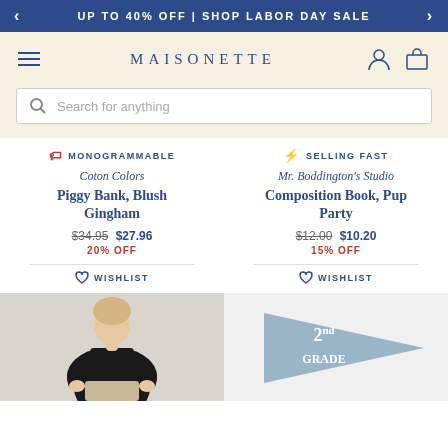UP TO 40% OFF | SHOP LABOR DAY SALE
MAISONETTE
Search for anything
MONOGRAMMABLE
Coton Colors
Piggy Bank, Blush Gingham
$34.95 $27.96
20% OFF
WISHLIST
SELLING FAST
Mr. Boddington's Studio
Composition Book, Pup Party
$12.00 $10.20
15% OFF
WISHLIST
[Figure (photo): Woman in black dress holding a bag, partial view]
[Figure (photo): Light blue pennant flag with '2nd GRADE' text]